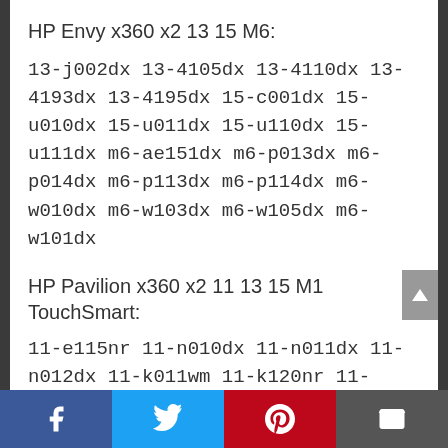HP Envy x360 x2 13 15 M6:
13-j002dx 13-4105dx 13-4110dx 13-4193dx 13-4195dx 15-c001dx 15-u010dx 15-u011dx 15-u110dx 15-u111dx m6-ae151dx m6-p013dx m6-p014dx m6-p113dx m6-p114dx m6-w010dx m6-w103dx m6-w105dx m6-w101dx
HP Pavilion x360 x2 11 13 15 M1 TouchSmart:
11-e115nr 11-n010dx 11-n011dx 11-n012dx 11-k011wm 11-k120nr 11-k164nr 11t-